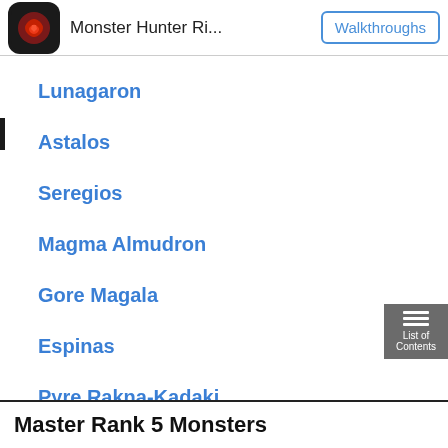Monster Hunter Ri...  Walkthroughs
Lunagaron
Astalos
Seregios
Magma Almudron
Gore Magala
Espinas
Pyre Rakna-Kadaki
Master Rank 5 Monsters